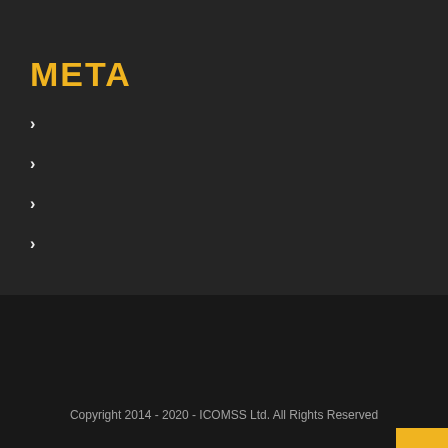META
>
>
>
>
Copyright 2014 - 2020 - ICOMSS Ltd. All Rights Reserved